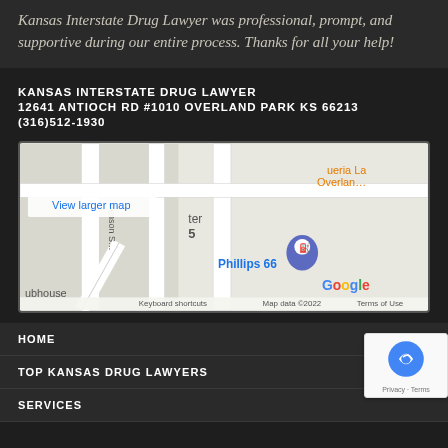Kansas Interstate Drug Lawyer was professional, prompt, and supportive during our entire process. Thanks for all your help!
KANSAS INTERSTATE DRUG LAWYER
12641 ANTIOCH RD #1010 OVERLAND PARK KS 66213
(316)512-1930
[Figure (map): Google Maps embed showing location near Phillips 66 in Overland Park, KS. Shows street map with a pin marker. Includes 'View larger map' link, Google logo, 'Keyboard shortcuts', 'Map data ©2022', and 'Terms of Use' labels.]
HOME
TOP KANSAS DRUG LAWYERS
SERVICES